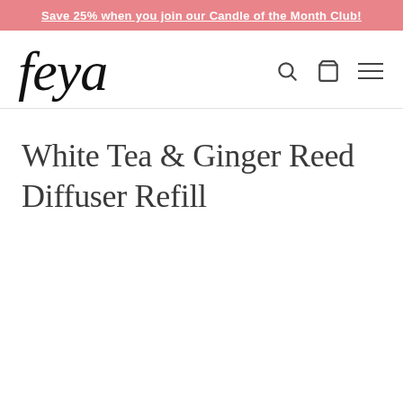Save 25% when you join our Candle of the Month Club!
[Figure (logo): Feya brand logo in italic serif font]
White Tea & Ginger Reed Diffuser Refill